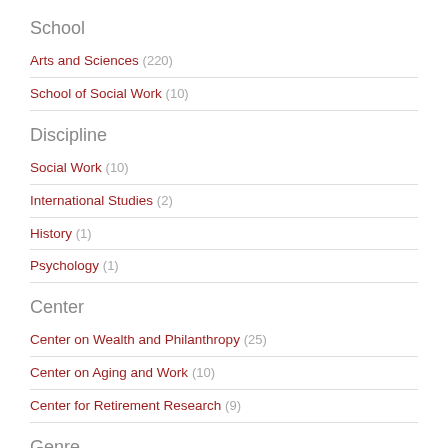School
Arts and Sciences (220)
School of Social Work (10)
Discipline
Social Work (10)
International Studies (2)
History (1)
Psychology (1)
Center
Center on Wealth and Philanthropy (25)
Center on Aging and Work (10)
Center for Retirement Research (9)
Genre
thesis (159)